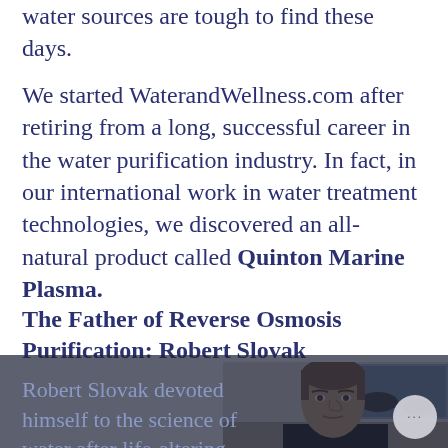water sources are tough to find these days.
We started WaterandWellness.com after retiring from a long, successful career in the water purification industry. In fact, in our international work in water treatment technologies, we discovered an all-natural product called Quinton Marine Plasma.
The Father of Reverse Osmosis Purification: Robert Slovak
Robert Slovak devoted himself to the science of water after life-altering experiences. He took his astronautical and mechanical
[Figure (photo): Portrait photo of Robert Slovak, a middle-aged man with brown hair, seated indoors with a landscape painting visible behind him.]